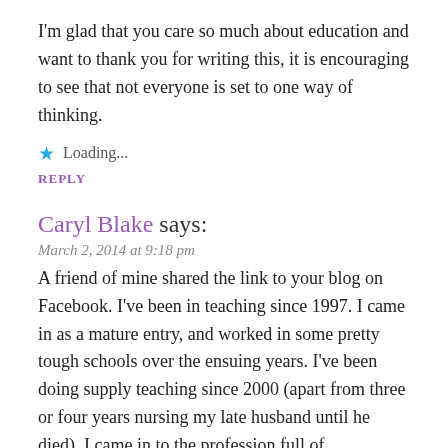I'm glad that you care so much about education and want to thank you for writing this, it is encouraging to see that not everyone is set to one way of thinking.
★ Loading...
REPLY
Caryl Blake says:
March 2, 2014 at 9:18 pm
A friend of mine shared the link to your blog on Facebook. I've been in teaching since 1997. I came in as a mature entry, and worked in some pretty tough schools over the ensuing years. I've been doing supply teaching since 2000 (apart from three or four years nursing my late husband until he died). I came in to the profession full of enthusiasm, wanting to work with children to give the ones in poorer areas a better start I'm a good teacher – rated Excellent by Ofsted standards, although I'm not convinced I'm THAT good. And I'm also planning on